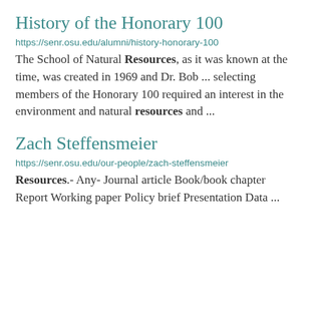History of the Honorary 100
https://senr.osu.edu/alumni/history-honorary-100
The School of Natural Resources, as it was known at the time, was created in 1969 and Dr. Bob ... selecting members of the Honorary 100 required an interest in the environment and natural resources and ...
Zach Steffensmeier
https://senr.osu.edu/our-people/zach-steffensmeier
Resources.- Any- Journal article Book/book chapter Report Working paper Policy brief Presentation Data ...